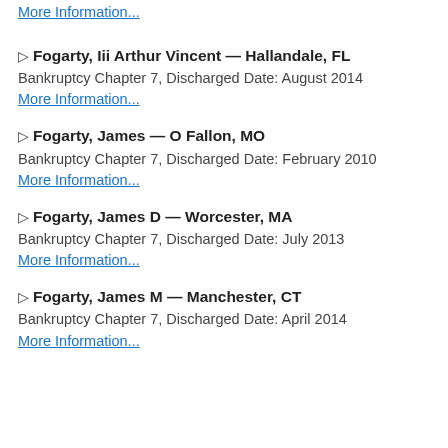More Information...
▷ Fogarty, Iii Arthur Vincent — Hallandale, FL
Bankruptcy Chapter 7, Discharged Date: August 2014
More Information...
▷ Fogarty, James — O Fallon, MO
Bankruptcy Chapter 7, Discharged Date: February 2010
More Information...
▷ Fogarty, James D — Worcester, MA
Bankruptcy Chapter 7, Discharged Date: July 2013
More Information...
▷ Fogarty, James M — Manchester, CT
Bankruptcy Chapter 7, Discharged Date: April 2014
More Information...